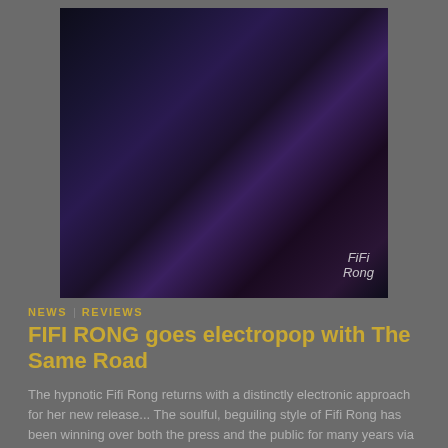[Figure (photo): A woman with dark skin wearing a shiny black mask over her eyes, with body paint and glitter, hands crossed over her chest. A stylized 'Fifi Rong' signature is visible in the lower right corner of the image.]
NEWS | REVIEWS
FIFI RONG goes electropop with The Same Road
The hypnotic Fifi Rong returns with a distinctly electronic approach for her new release... The soulful, beguiling style of Fifi Rong has been winning over both the press and the public for many years via releases such as a